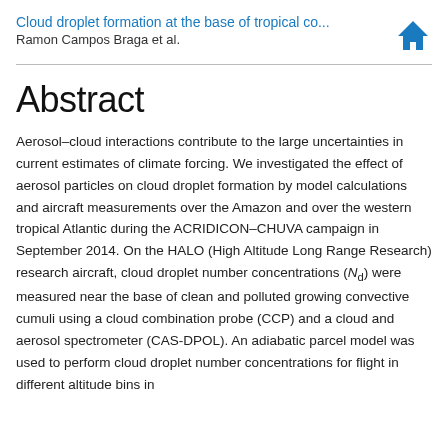Cloud droplet formation at the base of tropical co...
Ramon Campos Braga et al.
Abstract
Aerosol–cloud interactions contribute to the large uncertainties in current estimates of climate forcing. We investigated the effect of aerosol particles on cloud droplet formation by model calculations and aircraft measurements over the Amazon and over the western tropical Atlantic during the ACRIDICON–CHUVA campaign in September 2014. On the HALO (High Altitude Long Range Research) research aircraft, cloud droplet number concentrations (Nd) were measured near the base of clean and polluted growing convective cumuli using a cloud combination probe (CCP) and a cloud and aerosol spectrometer (CAS-DPOL). An adiabatic parcel model was used to perform cloud droplet number concentrations for flight in different altitude bins in